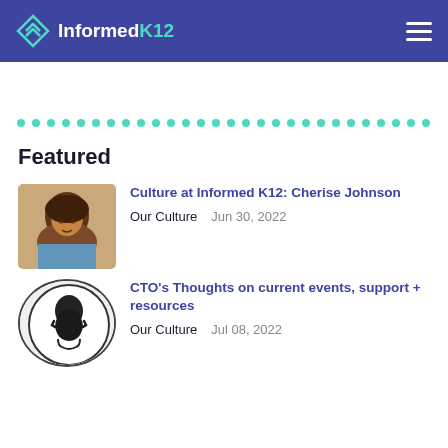InformedK12
[Figure (illustration): Decorative dotted teal line separator]
Featured
[Figure (photo): Photo of Cherise Johnson, a woman smiling]
Culture at Informed K12: Cherise Johnson
Our Culture   Jun 30, 2022
[Figure (illustration): Black and white icon of a raised fist inside a circle]
CTO's Thoughts on current events, support + resources
Our Culture   Jul 08, 2022